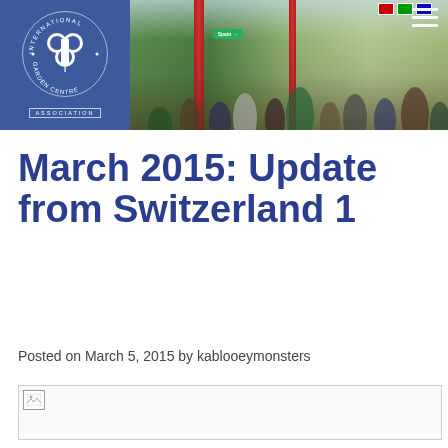[Figure (photo): Header banner showing International Garden Centre Association (IGCA) logo on blue background on the left, and a crowd of people at what appears to be a garden centre trade show or exhibition on the right, with red pillars, green signs, and colorful flags visible.]
March 2015: Update from Switzerland 1
Posted on March 5, 2015 by kablooeymonsters
[Figure (photo): Broken image placeholder at the bottom of the page]